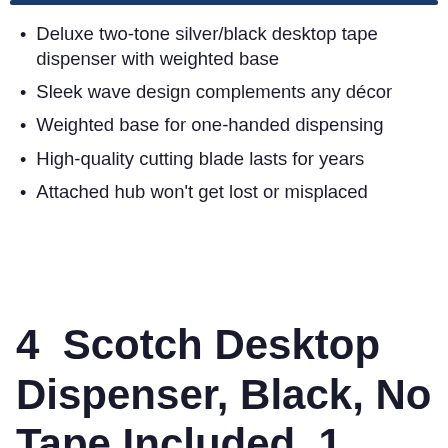Deluxe two-tone silver/black desktop tape dispenser with weighted base
Sleek wave design complements any décor
Weighted base for one-handed dispensing
High-quality cutting blade lasts for years
Attached hub won't get lost or misplaced
4  Scotch Desktop Dispenser, Black, No Tape Included, 1 Dispenser/Pack (C18-B-0)